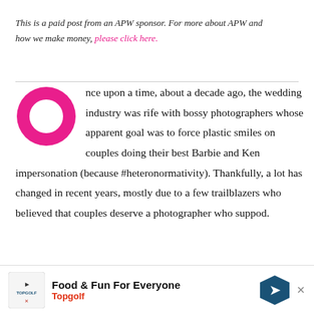This is a paid post from an APW sponsor. For more about APW and how we make money, please click here.
Once upon a time, about a decade ago, the wedding industry was rife with bossy photographers whose apparent goal was to force plastic smiles on couples doing their best Barbie and Ken impersonation (because #heteronormativity). Thankfully, a lot has changed in recent years, mostly due to a few trailblazers who believed that couples deserve a photographer who suppo...d.
[Figure (illustration): Large magenta/pink drop-cap letter O rendered as a ring/donut shape]
Food & Fun For Everyone Topgolf